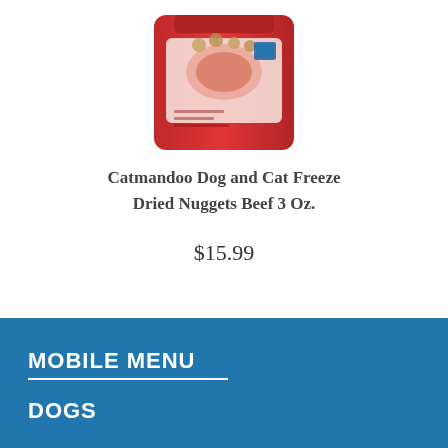[Figure (photo): Red bag of Catmandoo Dog and Cat Freeze Dried Nuggets Beef product, shown partially cropped at top of page]
Catmandoo Dog and Cat Freeze Dried Nuggets Beef 3 Oz.
$15.99
MOBILE MENU
DOGS